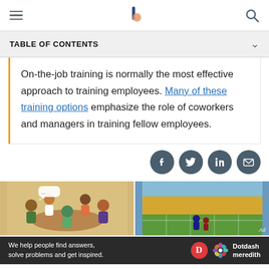Navigation header with hamburger menu, logo, and search icon
TABLE OF CONTENTS
On-the-job training is normally the most effective approach to training employees. Many of these training options emphasize the role of coworkers and managers in training fellow employees.
[Figure (infographic): Social share buttons: Facebook, Twitter, LinkedIn, Email]
[Figure (illustration): Left: illustration of people sitting around a table having a discussion with speech bubbles. Right: photo of football players on a field in a stadium.]
We help people find answers, solve problems and get inspired. Dotdash meredith